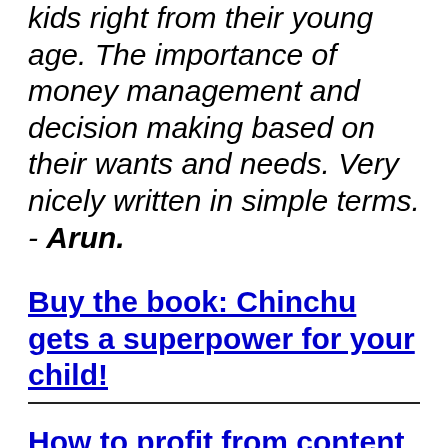kids right from their young age. The importance of money management and decision making based on their wants and needs. Very nicely written in simple terms. - Arun.
Buy the book: Chinchu gets a superpower for your child!
How to profit from content writing: Our new ebook for those interested in getting side income